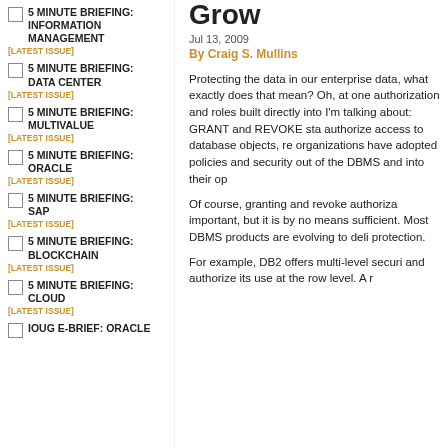5 MINUTE BRIEFING: INFORMATION MANAGEMENT [LATEST ISSUE]
5 MINUTE BRIEFING: DATA CENTER [LATEST ISSUE]
5 MINUTE BRIEFING: MULTIVALUE [LATEST ISSUE]
5 MINUTE BRIEFING: ORACLE [LATEST ISSUE]
5 MINUTE BRIEFING: SAP [LATEST ISSUE]
5 MINUTE BRIEFING: BLOCKCHAIN [LATEST ISSUE]
5 MINUTE BRIEFING: CLOUD [LATEST ISSUE]
IOUG E-BRIEF: ORACLE
Grow
Jul 13, 2009
By Craig S. Mullins
Protecting the data in our enterprise data, what exactly does that mean? Oh, at one authorization and roles built directly into I'm talking about: GRANT and REVOKE sta authorize access to database objects, re organizations have adopted policies and security out of the DBMS and into their op
Of course, granting and revoke authoriza important, but it is by no means sufficient Most DBMS products are evolving to deli protection.
For example, DB2 offers multi-level securi and authorize its use at the row level. A r